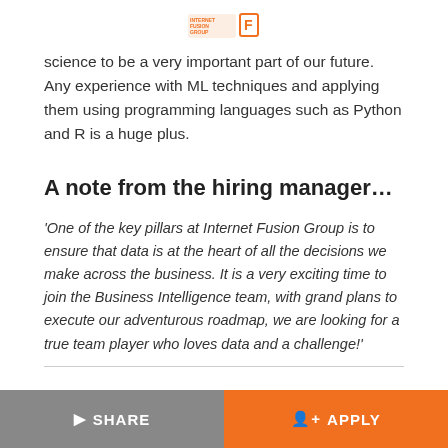Internet Fusion Group logo
science to be a very important part of our future. Any experience with ML techniques and applying them using programming languages such as Python and R is a huge plus.
A note from the hiring manager…
‘One of the key pillars at Internet Fusion Group is to ensure that data is at the heart of all the decisions we make across the business. It is a very exciting time to join the Business Intelligence team, with grand plans to execute our adventurous roadmap, we are looking for a true team player who loves data and a challenge!'
SHARE  APPLY